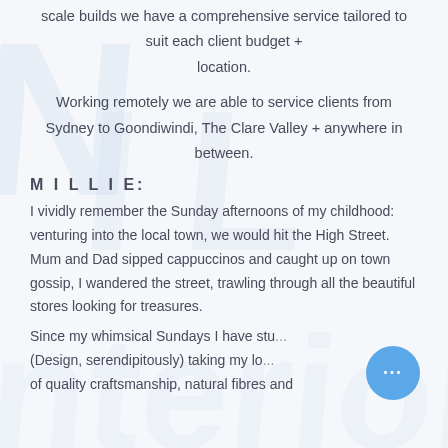scale builds we have a comprehensive service tailored to suit each client budget + location.
Working remotely we are able to service clients from Sydney to Goondiwindi, The Clare Valley + anywhere in between.
M I L L I E:
I vividly remember the Sunday afternoons of my childhood: venturing into the local town, we would hit the High Street. Mum and Dad sipped cappuccinos and caught up on town gossip, I wandered the street, trawling through all the beautiful stores looking for treasures.
Since my whimsical Sundays I have stu... (Design, serendipitously) taking my lo... of quality craftsmanship, natural fibres and